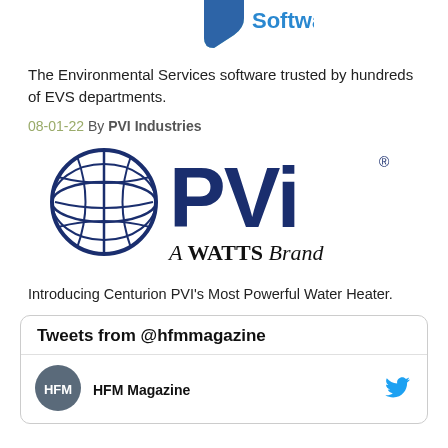[Figure (logo): Partial shield/software logo at top of page, teal and blue colors]
The Environmental Services software trusted by hundreds of EVS departments.
08-01-22 By PVI Industries
[Figure (logo): PVI Industries logo with globe icon and 'A WATTS Brand' tagline]
Introducing Centurion PVI's Most Powerful Water Heater.
Tweets from @hfmmagazine
HFM Magazine